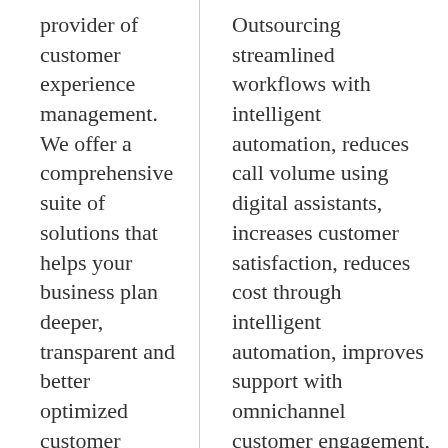provider of customer experience management. We offer a comprehensive suite of solutions that helps your business plan deeper, transparent and better optimized customer connections and experiences– from strategy development through execution. The company is wholly owned by Essar, a USD 27 billion conglomerate. For 30 years, we have been the go–to experience
Outsourcing streamlined workflows with intelligent automation, reduces call volume using digital assistants, increases customer satisfaction, reduces cost through intelligent automation, improves support with omnichannel customer engagement, improves call resolution & employee, satisfaction and increases customer satisfaction